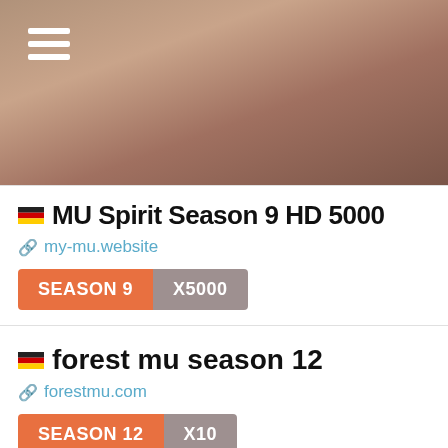[Figure (screenshot): Top navigation header with brownish-tan gradient background and hamburger menu icon (three white horizontal bars) in top-left corner]
MU Spirit Season 9 HD 5000
my-mu.website
SEASON 9   X5000
Season 9 HD Multiple Resolutions Exp: 5000x Drop: 5
https://discord.gg/PZq8Fr3aGb
forest mu season 12
forestmu.com
SEASON 12   X10